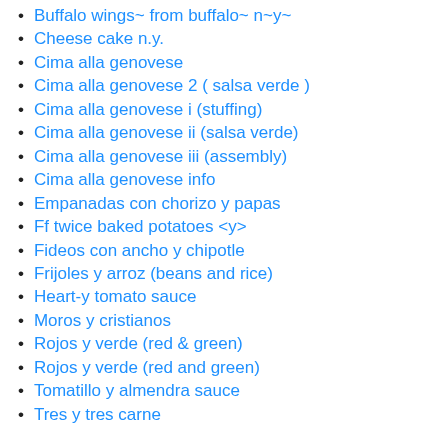Buffalo wings~ from buffalo~ n~y~
Cheese cake n.y.
Cima alla genovese
Cima alla genovese 2 ( salsa verde )
Cima alla genovese i (stuffing)
Cima alla genovese ii (salsa verde)
Cima alla genovese iii (assembly)
Cima alla genovese info
Empanadas con chorizo y papas
Ff twice baked potatoes <y>
Fideos con ancho y chipotle
Frijoles y arroz (beans and rice)
Heart-y tomato sauce
Moros y cristianos
Rojos y verde (red & green)
Rojos y verde (red and green)
Tomatillo y almendra sauce
Tres y tres carne